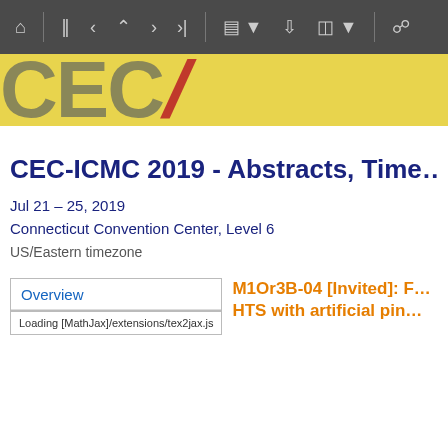[Figure (screenshot): Browser toolbar with navigation icons (home, first, back, up, forward, last, calendar, download, layout, link) on dark grey background]
[Figure (illustration): Yellow banner with large grey letters CEC and a red diagonal slash, conference logo banner]
CEC-ICMC 2019 - Abstracts, Time…
Jul 21 – 25, 2019
Connecticut Convention Center, Level 6
US/Eastern timezone
Overview
Loading [MathJax]/extensions/tex2jax.js
M1Or3B-04 [Invited]: F… HTS with artificial pin…